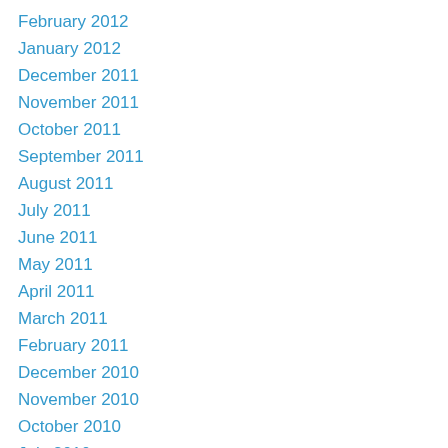February 2012
January 2012
December 2011
November 2011
October 2011
September 2011
August 2011
July 2011
June 2011
May 2011
April 2011
March 2011
February 2011
December 2010
November 2010
October 2010
July 2010
June 2010
May 2010
April 2010